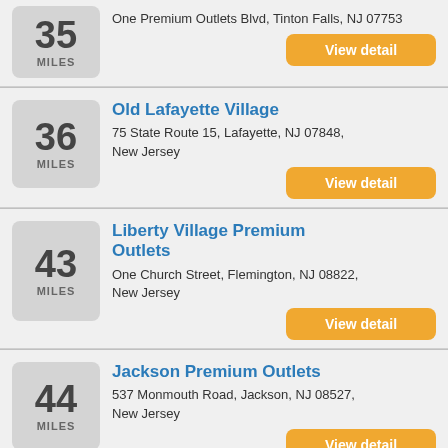35 MILES — One Premium Outlets Blvd, Tinton Falls, NJ 07753 — View detail
Old Lafayette Village — 36 MILES — 75 State Route 15, Lafayette, NJ 07848, New Jersey — View detail
Liberty Village Premium Outlets — 43 MILES — One Church Street, Flemington, NJ 08822, New Jersey — View detail
Jackson Premium Outlets — 44 MILES — 537 Monmouth Road, Jackson, NJ 08527, New Jersey — View detail
Circle Factory Outlet Center — 47 MILES (partial)